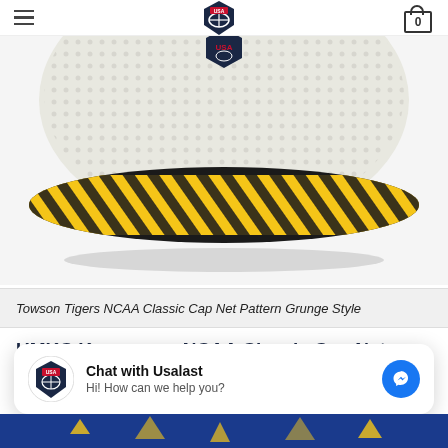[Figure (screenshot): Website header with hamburger menu on left, USA Basketball shield logo in center, and shopping cart icon with '0' on right]
[Figure (photo): NCAA Classic Cap with net pattern and grunge style – white top with USA Basketball logo, yellow and black striped brim]
Towson Tigers NCAA Classic Cap Net Pattern Grunge Style
UMKC Kangaroos NCAA Classic Cap Net Pattern Grunge Style
[Figure (screenshot): Chat widget: Chat with Usalast – Hi! How can we help you? with Messenger button]
[Figure (photo): Bottom strip showing blue and yellow NCAA cap product image]